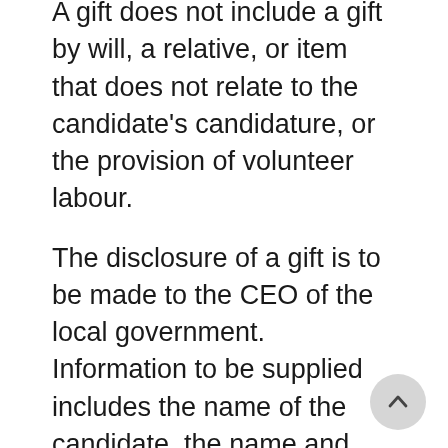A gift does not include a gift by will, a relative, or item that does not relate to the candidate's candidature, or the provision of volunteer labour.
The disclosure of a gift is to be made to the CEO of the local government. Information to be supplied includes the name of the candidate, the name and address of the donor, the date the gift was received (or promised), the value of the gift and a description of the gift.
In addition, any gifts from unidentified donors must be disclosed and provided to the CEO of the relevant local government for disposal.
Within three days of nomination, a candidate will need to disclose any gifts received in the relevant period prior to nomination and disclose